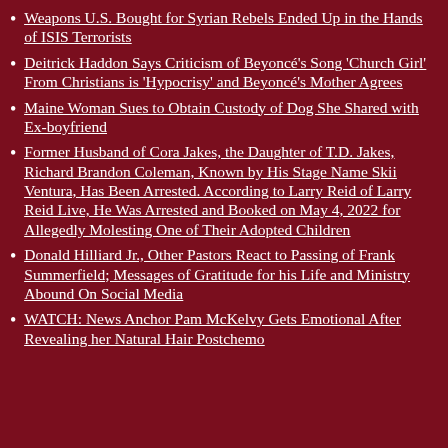Weapons U.S. Bought for Syrian Rebels Ended Up in the Hands of ISIS Terrorists
Deitrick Haddon Says Criticism of Beyoncé's Song 'Church Girl' From Christians is 'Hypocrisy' and Beyoncé's Mother Agrees
Maine Woman Sues to Obtain Custody of Dog She Shared with Ex-boyfriend
Former Husband of Cora Jakes, the Daughter of T.D. Jakes, Richard Brandon Coleman, Known by His Stage Name Skii Ventura, Has Been Arrested. According to Larry Reid of Larry Reid Live, He Was Arrested and Booked on May 4, 2022 for Allegedly Molesting One of Their Adopted Children
Donald Hilliard Jr., Other Pastors React to Passing of Frank Summerfield; Messages of Gratitude for his Life and Ministry Abound On Social Media
WATCH: News Anchor Pam McKelvy Gets Emotional After Revealing her Natural Hair Postchemo